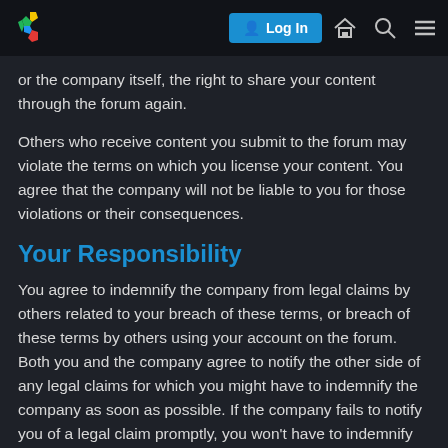[Figure (screenshot): Navigation bar with colorful S logo, blue Log In button, home icon, search icon, and hamburger menu icon on dark background]
or the company itself, the right to share your content through the forum again.
Others who receive content you submit to the forum may violate the terms on which you license your content. You agree that the company will not be liable to you for those violations or their consequences.
Your Responsibility
You agree to indemnify the company from legal claims by others related to your breach of these terms, or breach of these terms by others using your account on the forum. Both you and the company agree to notify the other side of any legal claims for which you might have to indemnify the company as soon as possible. If the company fails to notify you of a legal claim promptly, you won't have to indemnify the company for damages that you could have defended against or mitigated with prompt notice. You agree to allow the company to control investigation